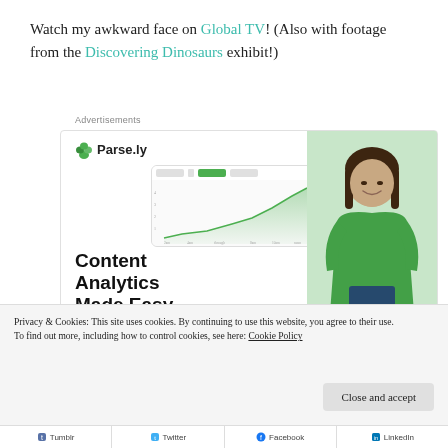Watch my awkward face on Global TV! (Also with footage from the Discovering Dinosaurs exhibit!)
Advertisements
[Figure (screenshot): Parse.ly advertisement banner showing content analytics dashboard with a smiling woman in green shirt, logo, and text 'Content Analytics Made Easy']
Privacy & Cookies: This site uses cookies. By continuing to use this website, you agree to their use.
To find out more, including how to control cookies, see here: Cookie Policy
Close and accept
Tumblr  Twitter  Facebook  LinkedIn